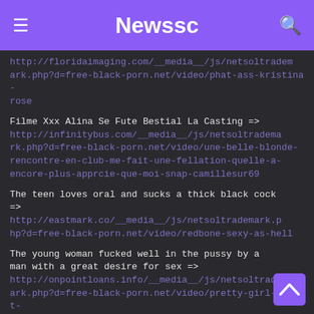Newssc
http://floridaimaging.com/__media__/js/netsoltrademark.php?d=free-black-porn.net/video/phat-ass-kristina-rose
Filme Xxx Alina Se Fute Bestial La Casting => http://infinitybus.com/__media__/js/netsoltrademark.php?d=free-black-porn.net/video/une-belle-blonde-rencontre-en-club-me-fait-une-fellation-quelle-a-encore-plus-apprcie-que-moi-snap-camillesur69
The teen loves oral and sucks a thick black cock => http://eastmark.co/__media__/js/netsoltrademark.php?d=free-black-porn.net/video/redbone-sexy-as-hell
The young woman fucked well in the pussy by a man with a great desire for sex => http://onpointloans.info/__media__/js/netsoltrademark.php?d=free-black-porn.net/video/pretty-girl-doesnt-have-to-pay-the-taxi-driver-and-offers-to-give-blowjob